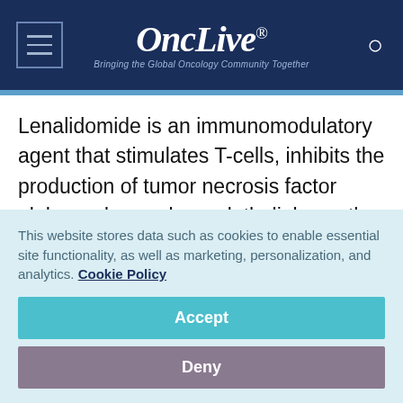OncLive® — Bringing the Global Oncology Community Together
Lenalidomide is an immunomodulatory agent that stimulates T-cells, inhibits the production of tumor necrosis factor alpha and vascular endothelial growth factor, and impairs the interaction between bone marrow stroma and hematopoietic cells.
Orphan designation will give lenalidomide access to
This website stores data such as cookies to enable essential site functionality, as well as marketing, personalization, and analytics. Cookie Policy
Accept
Deny